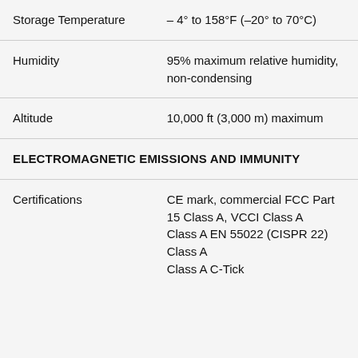| Property | Value |
| --- | --- |
| Storage Temperature | – 4° to 158°F (–20° to 70°C) |
| Humidity | 95% maximum relative humidity, non-condensing |
| Altitude | 10,000 ft (3,000 m) maximum |
| ELECTROMAGNETIC EMISSIONS AND IMMUNITY |  |
| Certifications | CE mark, commercial FCC Part 15 Class A, VCCI Class A
Class A EN 55022 (CISPR 22) Class A
Class A C-Tick |